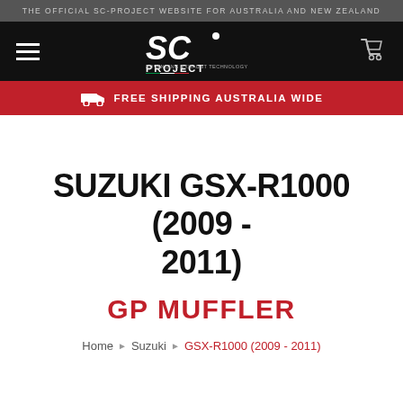THE OFFICIAL SC-PROJECT WEBSITE FOR AUSTRALIA AND NEW ZEALAND
[Figure (logo): SC-Project logo in white on black navigation bar with hamburger menu and cart icon]
FREE SHIPPING AUSTRALIA WIDE
SUZUKI GSX-R1000 (2009 - 2011)
GP MUFFLER
Home › Suzuki › GSX-R1000 (2009 - 2011)